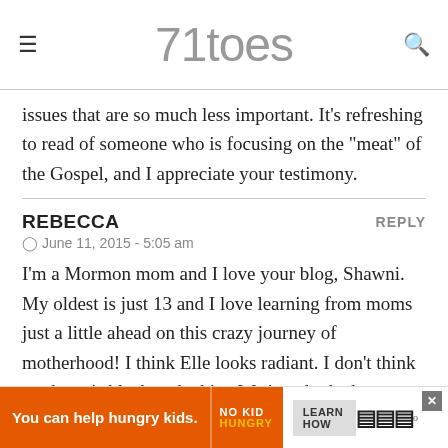71toes
issues that are so much less important. It's refreshing to read of someone who is focusing on the "meat" of the Gospel, and I appreciate your testimony.
REBECCA
June 11, 2015 - 5:05 am
I'm a Mormon mom and I love your blog, Shawni. My oldest is just 13 and I love learning from moms just a little ahead on this crazy journey of motherhood! I think Elle looks radiant. I don't think modesty is black and white. We just do the best we can. I've tried on clothes at a store ans right they were very modest,
[Figure (other): Advertisement banner: 'You can help hungry kids.' No Kid Hungry. Learn How button.]